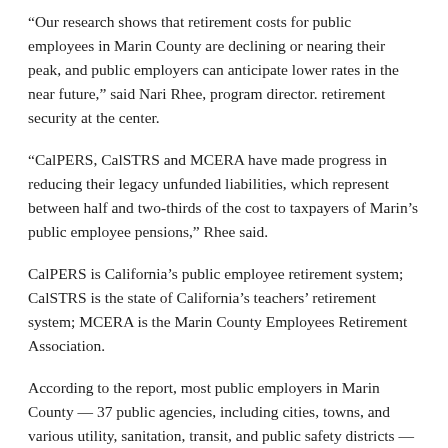“Our research shows that retirement costs for public employees in Marin County are declining or nearing their peak, and public employers can anticipate lower rates in the near future,” said Nari Rhee, program director. retirement security at the center.
“CalPERS, CalSTRS and MCERA have made progress in reducing their legacy unfunded liabilities, which represent between half and two-thirds of the cost to taxpayers of Marin’s public employee pensions,” Rhee said.
CalPERS is California’s public employee retirement system; CalSTRS is the state of California’s teachers’ retirement system; MCERA is the Marin County Employees Retirement Association.
According to the report, most public employers in Marin County — 37 public agencies, including cities, towns, and various utility, sanitation, transit, and public safety districts — pay retirement benefits. through CalPERS. The system also provides pensions to “classified” non-educational staff in K-12 school districts.